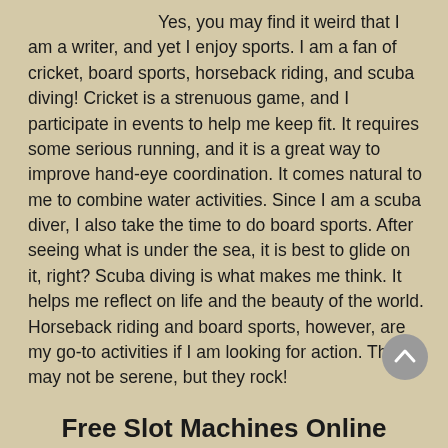Yes, you may find it weird that I am a writer, and yet I enjoy sports. I am a fan of cricket, board sports, horseback riding, and scuba diving! Cricket is a strenuous game, and I participate in events to help me keep fit. It requires some serious running, and it is a great way to improve hand-eye coordination. It comes natural to me to combine water activities. Since I am a scuba diver, I also take the time to do board sports. After seeing what is under the sea, it is best to glide on it, right? Scuba diving is what makes me think. It helps me reflect on life and the beauty of the world. Horseback riding and board sports, however, are my go-to activities if I am looking for action. They may not be serene, but they rock!
Free Slot Machines Online